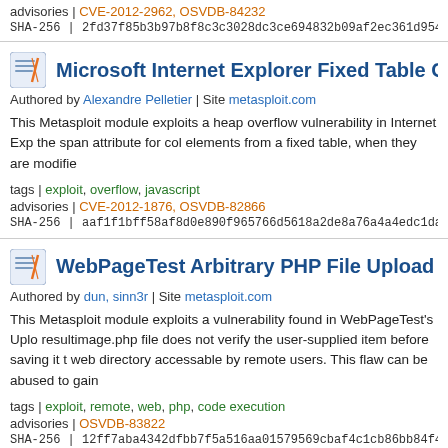advisories | CVE-2012-2962, OSVDB-84232
SHA-256 | 2fd37f85b3b97b8f8c3c3028dc3ce694832b09af2ec361d954d869…
Microsoft Internet Explorer Fixed Table Col Span Hea…
Authored by Alexandre Pelletier | Site metasploit.com
This Metasploit module exploits a heap overflow vulnerability in Internet Exp… the span attribute for col elements from a fixed table, when they are modifie…
tags | exploit, overflow, javascript
advisories | CVE-2012-1876, OSVDB-82866
SHA-256 | aaf1f1bff58af8d0e890f965766d5618a2de8a76a4a4edc1da8530…
WebPageTest Arbitrary PHP File Upload
Authored by dun, sinn3r | Site metasploit.com
This Metasploit module exploits a vulnerability found in WebPageTest's Uplo… resultimage.php file does not verify the user-supplied item before saving it t… web directory accessable by remote users. This flaw can be abused to gain…
tags | exploit, remote, web, php, code execution
advisories | OSVDB-83822
SHA-256 | 12ff7aba4342dfbb7f5a516aa01579569cbaf4c1cb86bb84f42047…
Microsoft Office SharePoint Server 2007 Remote Cod…